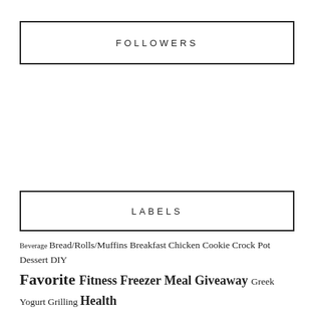FOLLOWERS
LABELS
Beverage Bread/Rolls/Muffins Breakfast Chicken Cookie Crock Pot Dessert DIY Favorite Fitness Freezer Meal Giveaway Greek Yogurt Grilling Health Conscious Julia Moments Kids Craft LEGOLANDKidsGoFree M and J Monday M2 Marcus Meals Marcus Moments Marcus Monday Mexican Months of Julia Months of Marcus Pasta Pregnancy Update Pregnancy Update 2 Progress Report RAK Running Scott Shrimp Sides/Appetizers Skillet Snack Soup